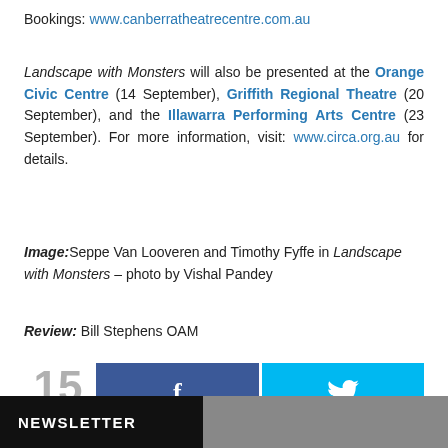Bookings: www.canberratheatrecentre.com.au
Landscape with Monsters will also be presented at the Orange Civic Centre (14 September), Griffith Regional Theatre (20 September), and the Illawarra Performing Arts Centre (23 September). For more information, visit: www.circa.org.au for details.
Image: Seppe Van Looveren and Timothy Fyffe in Landscape with Monsters – photo by Vishal Pandey
Review: Bill Stephens OAM
[Figure (infographic): Social share buttons showing 15 SHARES, a Facebook button (dark blue with f icon), and a Twitter button (light blue with bird icon)]
NEWSLETTER